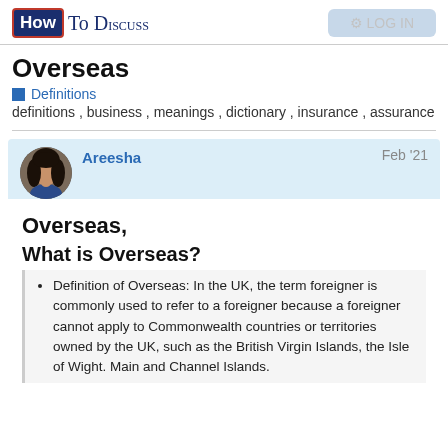How To Discuss
Overseas
Definitions
definitions , business , meanings , dictionary , insurance , assurance
Areesha   Feb '21
Overseas,
What is Overseas?
Definition of Overseas: In the UK, the term foreigner is commonly used to refer to a foreigner because a foreigner cannot apply to Commonwealth countries or territories owned by the UK, such as the British Virgin Islands, the Isle of Wight. Main and Channel Islands.